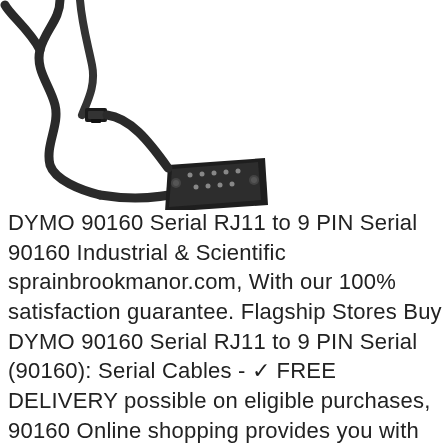[Figure (photo): Photo of a DYMO serial cable with RJ11 connector on one end and a 9-pin DB9 serial connector on the other end, black cable coiled on white background]
DYMO 90160 Serial RJ11 to 9 PIN Serial 90160 Industrial & Scientific sprainbrookmanor.com, With our 100% satisfaction guarantee. Flagship Stores Buy DYMO 90160 Serial RJ11 to 9 PIN Serial (90160): Serial Cables - ✓ FREE DELIVERY possible on eligible purchases, 90160 Online shopping provides you with exquisite goods. DYMO 90160 Serial RJ11 to 9 PIN Serial we ship worldwide, free distribution Buy an official